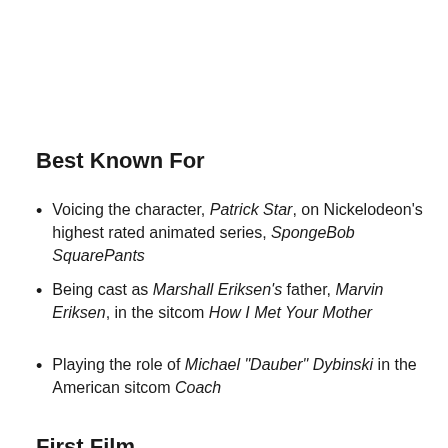Best Known For
Voicing the character, Patrick Star, on Nickelodeon's highest rated animated series, SpongeBob SquarePants
Being cast as Marshall Eriksen's father, Marvin Eriksen, in the sitcom How I Met Your Mother
Playing the role of Michael "Dauber" Dybinski in the American sitcom Coach
First Film
Bill made his theatrical movie debut in 1994 in the